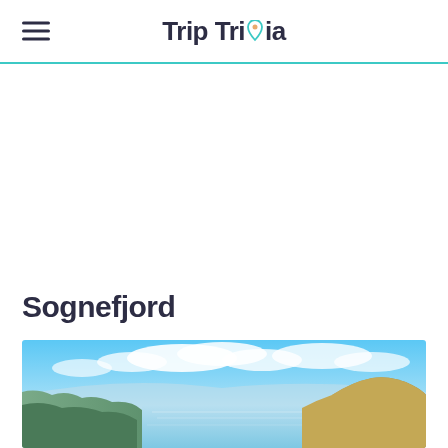Trip Trivia
Sognefjord
[Figure (photo): Aerial panoramic view of Sognefjord, Norway showing blue fjord waters, steep green and rocky cliffs, and a bright blue sky with white clouds]